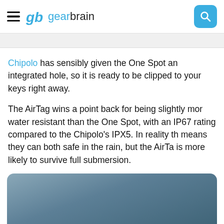gearbrain
Chipolo has sensibly given the One Spot an integrated hole, so it is ready to be clipped to your keys right away.
The AirTag wins a point back for being slightly more water resistant than the One Spot, with an IP67 rating compared to the Chipolo's IPX5. In reality this means they can both safe in the rain, but the AirTag is more likely to survive full submersion.
[Figure (photo): Partial photo with dark blue-gray gradient background, cropped at bottom of page]